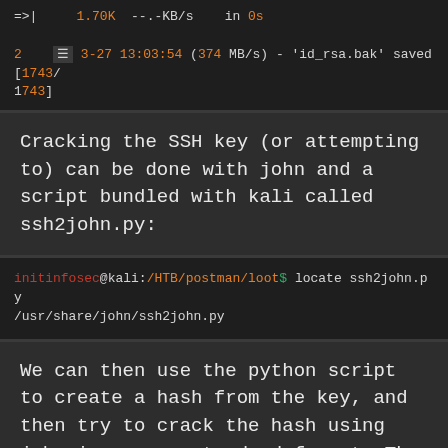[Figure (screenshot): Terminal output showing wget download of id_rsa.bak file with speed 1.70K --.-KB/s in 0s, saved 1743/1743 bytes]
Cracking the SSH key (or attempting to) can be done with john and a script bundled with kali called ssh2john.py:
[Figure (screenshot): Terminal command: initinfosec@kali:/HTB/postman/loot$ locate ssh2john.py
/usr/share/john/ssh2john.py]
We can then use the python script to create a hash from the key, and then try to crack the hash using john in a more standard format. The commands used are shown below:
[Figure (screenshot): Terminal command: initinfosec@kali:/HTB/postman/loot$ python /usr/share/joh]